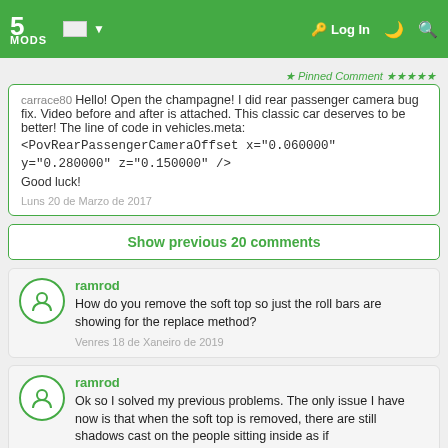5MODS | Log In
★ Pinned Comment ★★★★★
carrace80 Hello! Open the champagne! I did rear passenger camera bug fix. Video before and after is attached. This classic car deserves to be better! The line of code in vehicles.meta: <PovRearPassengerCameraOffset x="0.060000" y="0.280000" z="0.150000" />
Good luck!
Luns 20 de Marzo de 2017
Show previous 20 comments
ramrod
How do you remove the soft top so just the roll bars are showing for the replace method?
Venres 18 de Xaneiro de 2019
ramrod
Ok so I solved my previous problems. The only issue I have now is that when the soft top is removed, there are still shadows cast on the people sitting inside as if